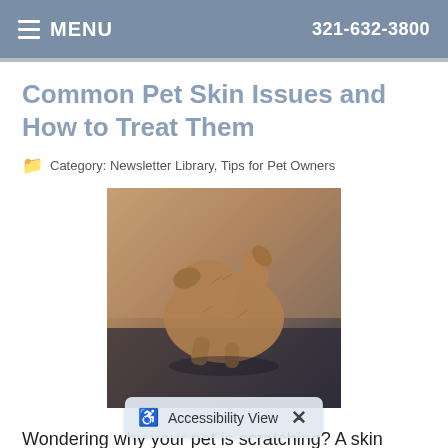MENU   321-632-3800
Common Pet Skin Issues and How to Treat Them
Category: Newsletter Library, Tips for Pet Owners
[Figure (photo): A dog scratching or grooming itself, sitting on a dark surface]
Wondering why your pet is scratching? A skin condition may be to blame.
Read more
What To Know A...nd